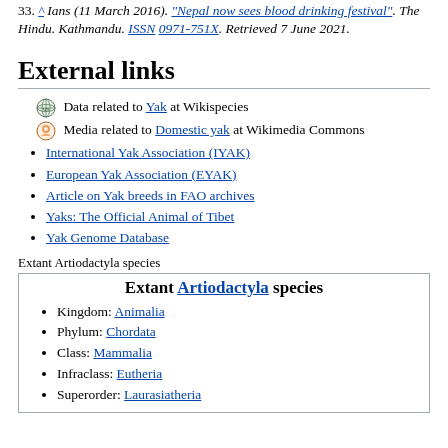33. ^ Ians (11 March 2016). "Nepal now sees blood drinking festival". The Hindu. Kathmandu. ISSN 0971-751X. Retrieved 7 June 2021.
External links
Data related to Yak at Wikispecies
Media related to Domestic yak at Wikimedia Commons
International Yak Association (IYAK)
European Yak Association (EYAK)
Article on Yak breeds in FAO archives
Yaks: The Official Animal of Tibet
Yak Genome Database
Extant Artiodactyla species
Extant Artiodactyla species
Kingdom: Animalia
Phylum: Chordata
Class: Mammalia
Infraclass: Eutheria
Superorder: Laurasiatheria